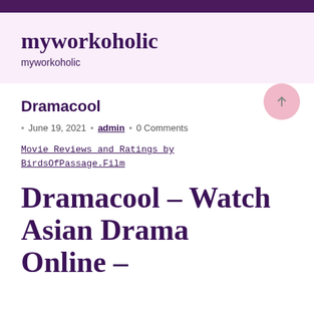myworkoholic
myworkoholic
Dramacool
June 19, 2021  |  admin  |  0 Comments
Movie Reviews and Ratings by BirdsOfPassage.Film
Dramacool – Watch Asian Drama Online –